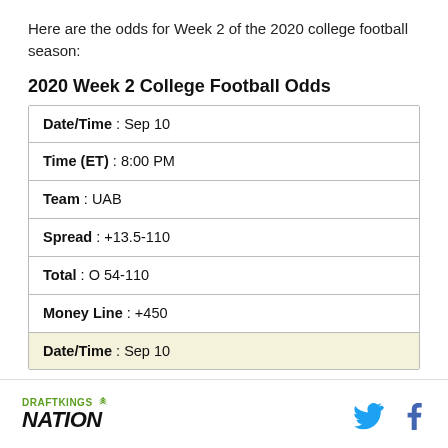Here are the odds for Week 2 of the 2020 college football season:
2020 Week 2 College Football Odds
| Date/Time : Sep 10 |
| Time (ET) : 8:00 PM |
| Team : UAB |
| Spread : +13.5-110 |
| Total : O 54-110 |
| Money Line : +450 |
| Date/Time : Sep 10 |
DRAFTKINGS NATION